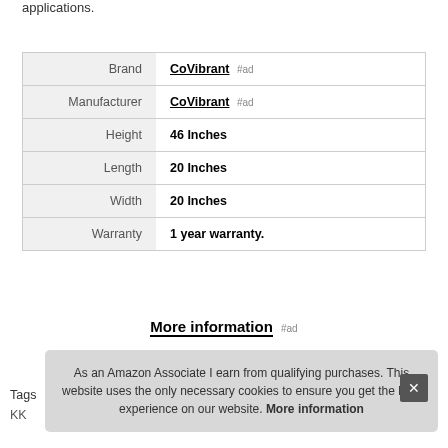applications.
|  |  |
| --- | --- |
| Brand | CoVibrant #ad |
| Manufacturer | CoVibrant #ad |
| Height | 46 Inches |
| Length | 20 Inches |
| Width | 20 Inches |
| Warranty | 1 year warranty. |
More information #ad
As an Amazon Associate I earn from qualifying purchases. This website uses the only necessary cookies to ensure you get the best experience on our website. More information
Tags
KK